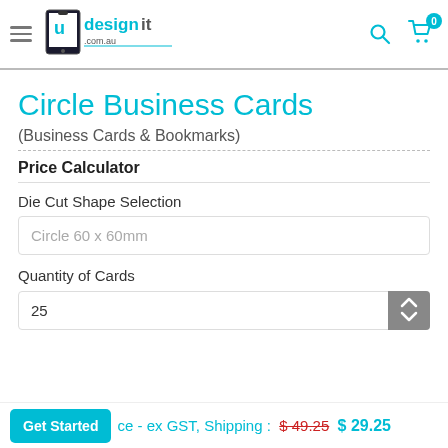[Figure (logo): udesignit.com.au logo with stylized tablet/hand graphic and teal text]
Circle Business Cards
(Business Cards & Bookmarks)
Price Calculator
Die Cut Shape Selection
Circle 60 x 60mm
Quantity of Cards
25
ce - ex GST, Shipping : $ 49.25 $ 29.25